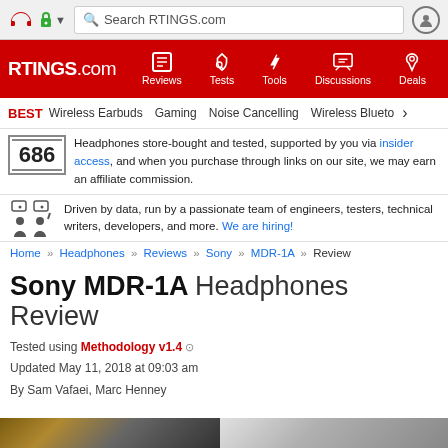Search RTINGS.com
RTINGS.com | Reviews | Tests | Tools | Discussions | Deals
BEST Wireless Earbuds Gaming Noise Cancelling Wireless Blueto >
686 Headphones store-bought and tested, supported by you via insider access, and when you purchase through links on our site, we may earn an affiliate commission.
Driven by data, run by a passionate team of engineers, testers, technical writers, developers, and more. We are hiring!
Home » Headphones » Reviews » Sony » MDR-1A » Review
Sony MDR-1A Headphones Review
Tested using Methodology v1.4 ?
Updated May 11, 2018 at 09:03 am
By Sam Vafaei, Marc Henney
[Figure (photo): Bottom strip showing partial product image of Sony MDR-1A headphones]